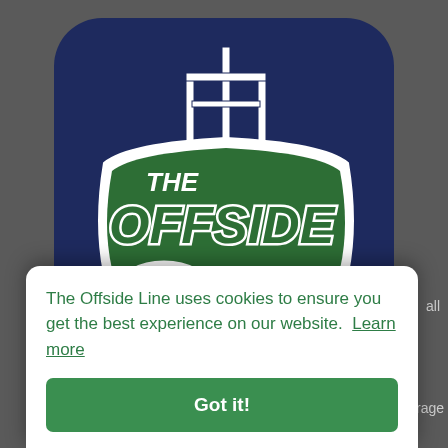[Figure (logo): The Offside Line logo on a dark navy blue rounded square background. Features football goal posts and green bold text reading 'THE OFFSIDE LINE' with a football graphic.]
The Offside Line uses cookies to ensure you get the best experience on our website. Learn more
Got it!